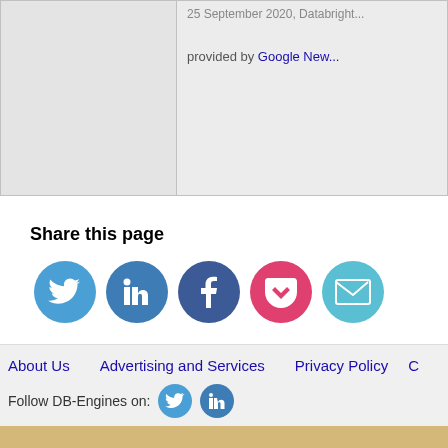[Figure (screenshot): Top section with left gray panel and right panel showing partial date text and 'provided by Google New...' link]
provided by Google New...
Share this page
[Figure (infographic): Row of social sharing icons: Twitter (blue), LinkedIn (blue), Facebook (dark blue), Pocket (pink/red), Email (light blue)]
About Us   Advertising and Services   Privacy Policy   C...
Follow DB-Engines on: [Twitter icon] [LinkedIn icon]